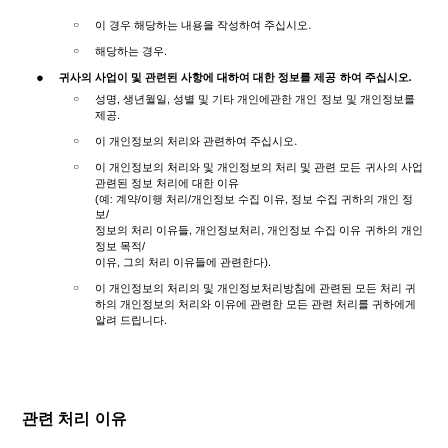이 경우 해당하는 내용을 작성하여 주십시오.
해당하는 경우.
귀사의 사업이 및 관련된 사항에 대하여 대한 정보를 제공 하여 주십시오.
성명, 생년월일, 성별 및 기타 개인에관한 개인 정보 및 개인정보를 제공.
이 개인정보의 처리와 관련하여 주십시오.
이 개인정보의 처리와 및 개인정보의 처리 및 관련 모든 귀사의 사업 관련된 정보 처리에 대한 이유 (예: 계약/이행 처리/개인정보 수집 이유, 정보 수집 귀하의 개인 정보/ 정보의 처리 이유들, 개인정보처리, 개인정보 수집 이유 귀하의 개인 정보 목적/ 이유, 그의 처리 이유들에 관련한다).
이 개인정보의 처리의 및 개인정보처리방침에 관련된 모든 처리 귀하의 개인정보의 처리와 이유에 관련한 모든 관련 처리를 귀하에게 알려 드립니다.
관련 처리 이유